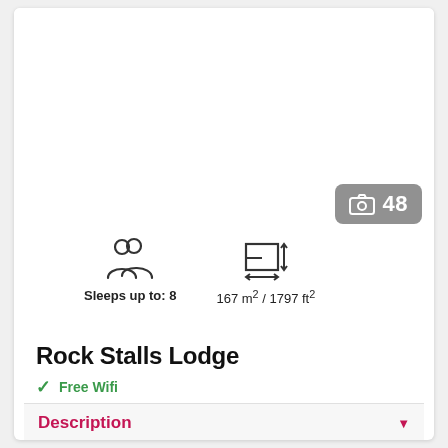[Figure (photo): White/blank image area at top of page, representing a property photo placeholder]
[Figure (infographic): Camera icon badge showing '48' photos available, displayed in grey rounded rectangle]
[Figure (infographic): Two icons: person/group icon with label 'Sleeps up to: 8', and floor plan/size icon with label '167 m² / 1797 ft²']
Rock Stalls Lodge
✓ Free Wifi
Description
Amenities